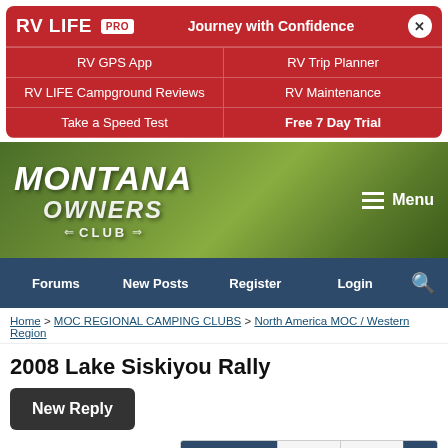[Figure (screenshot): RV LIFE PRO advertisement banner with navigation links: RV GPS App, RV Trip Planner, RV LIFE Campground Reviews, RV Maintenance, Take a Speed Test, Free 7 Day Trial]
[Figure (logo): Montana Owners Club website header logo with green mountain background and hamburger Menu button]
[Figure (screenshot): Navigation bar with Forums, New Posts, Register, Login, and search icon]
Home > MOC REGIONAL CAMPING CLUBS > North America MOC / Western Region
2008 Lake Siskiyou Rally
New Reply
Page 3 of 5  < Prev  Next >
Subscribe to this Thread  Thread Tools